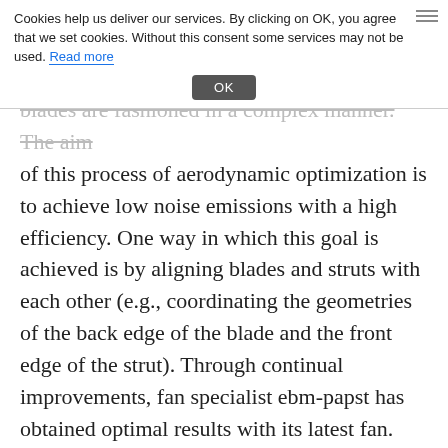Cookies help us deliver our services. By clicking on OK, you agree that we set cookies. Without this consent some services may not be used. Read more
blades are fashioned in a complex manner. The aim of this process of aerodynamic optimization is to achieve low noise emissions with a high efficiency. One way in which this goal is achieved is by aligning blades and struts with each other (e.g., coordinating the geometries of the back edge of the blade and the front edge of the strut). Through continual improvements, fan specialist ebm-papst has obtained optimal results with its latest fan. This fan design was calculated with the help of specific simulation software and was verified in practice at our in-house testing station (Figure 3). Finely balanced rotors with maintenance-free ball bearings minimize vibration and reduce impact sound. Together with a vibration-opti-